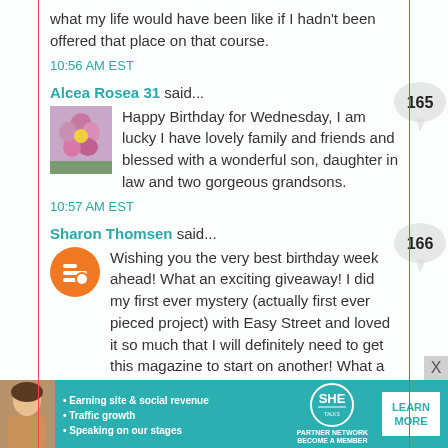what my life would have been like if I hadn't been offered that place on that course.
10:56 AM EST
Alcea Rosea 31 said...
[Figure (photo): Small square avatar photo of pink/purple flower]
Happy Birthday for Wednesday, I am lucky I have lovely family and friends and blessed with a wonderful son, daughter in law and two gorgeous grandsons.
10:57 AM EST
Sharon Thomsen said...
[Figure (logo): Orange circle Blogger logo icon]
Wishing you the very best birthday week ahead! What an exciting giveaway! I did my first ever mystery (actually first ever pieced project) with Easy Street and loved it so much that I will definitely need to get this magazine to start on another! What a treat it was to make that quilt in such manageable chunks!
[Figure (infographic): SHE Partner Network advertisement banner with woman photo, bullet points: Earning site & social revenue, Traffic growth, Speaking on our stages, SHE logo, LEARN MORE button]